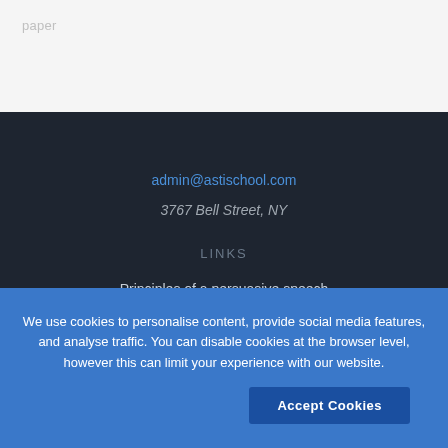paper
admin@astischool.com
3767 Bell Street, NY
LINKS
Principles of a persuasive speech
Review on the Galen Student Portal
We use cookies to personalise content, provide social media features, and analyse traffic. You can disable cookies at the browser level, however this can limit your experience with our website.